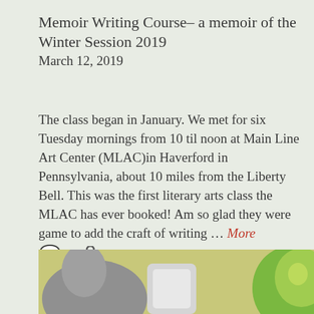Memoir Writing Course– a memoir of the Winter Session 2019
March 12, 2019
The class began in January. We met for six Tuesday mornings from 10 til noon at Main Line Art Center (MLAC)in Haverford in Pennsylvania, about 10 miles from the Liberty Bell. This was the first literary arts class the MLAC has ever booked! Am so glad they were game to add the craft of writing … More
[Figure (photo): Partial photo showing blurred figures and objects on a yellow-green background, cropped at bottom of page]